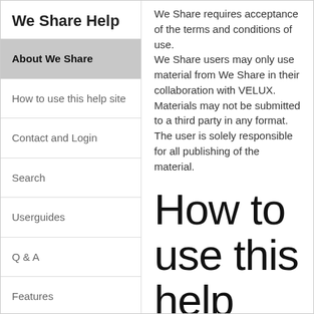We Share Help
About We Share
How to use this help site
Contact and Login
Search
Userguides
Q & A
Features
We Share requires acceptance of the terms and conditions of use. We Share users may only use material from We Share in their collaboration with VELUX. Materials may not be submitted to a third party in any format. The user is solely responsible for all publishing of the material.
How to use this help site